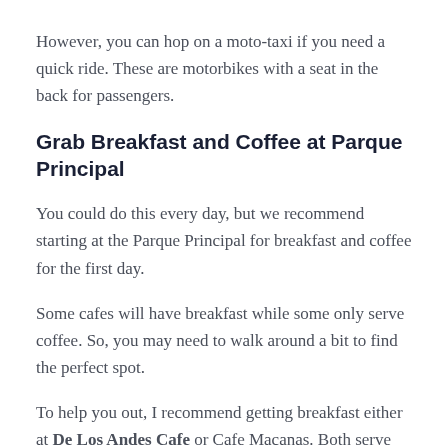However, you can hop on a moto-taxi if you need a quick ride. These are motorbikes with a seat in the back for passengers.
Grab Breakfast and Coffee at Parque Principal
You could do this every day, but we recommend starting at the Parque Principal for breakfast and coffee for the first day.
Some cafes will have breakfast while some only serve coffee. So, you may need to walk around a bit to find the perfect spot.
To help you out, I recommend getting breakfast either at De Los Andes Cafe or Cafe Macanas. Both serve breakfast and have unique atmospheres.